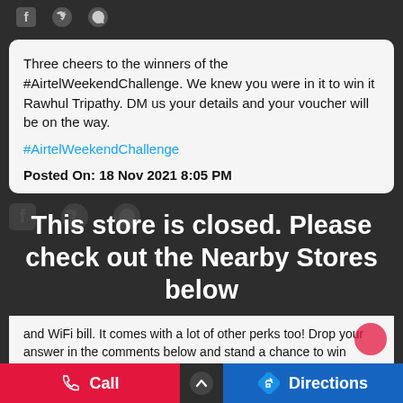[Figure (screenshot): Top bar with social media icons: Facebook (f), Twitter bird, WhatsApp (phone handset) on dark background]
Three cheers to the winners of the #AirtelWeekendChallenge. We knew you were in it to win it Rawhul Tripathy. DM us your details and your voucher will be on the way.
#AirtelWeekendChallenge
Posted On: 18 Nov 2021 8:05 PM
This store is closed. Please check out the Nearby Stores below
and WiFi bill. It comes with a lot of other perks too! Drop your answer in the comments below and stand a chance to win Amazon vouchers.. T&C Apply:
https://bit.ly/3qvhIPX
Call   Directions